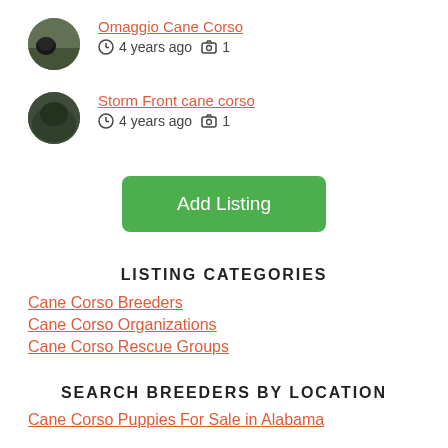Omaggio Cane Corso — 4 years ago 📷 1
Storm Front cane corso — 4 years ago 📷 1
[Figure (other): Green 'Add Listing' button]
LISTING CATEGORIES
Cane Corso Breeders
Cane Corso Organizations
Cane Corso Rescue Groups
SEARCH BREEDERS BY LOCATION
Cane Corso Puppies For Sale in Alabama